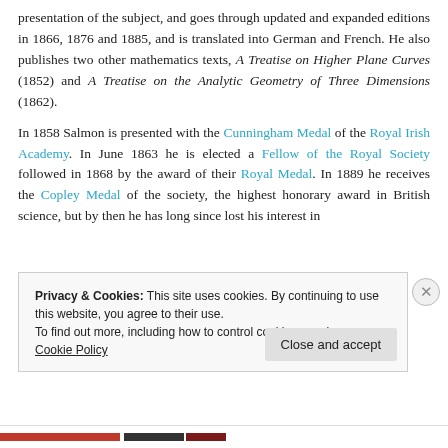presentation of the subject, and goes through updated and expanded editions in 1866, 1876 and 1885, and is translated into German and French. He also publishes two other mathematics texts, A Treatise on Higher Plane Curves (1852) and A Treatise on the Analytic Geometry of Three Dimensions (1862).
In 1858 Salmon is presented with the Cunningham Medal of the Royal Irish Academy. In June 1863 he is elected a Fellow of the Royal Society followed in 1868 by the award of their Royal Medal. In 1889 he receives the Copley Medal of the society, the highest honorary award in British science, but by then he has long since lost his interest in
Privacy & Cookies: This site uses cookies. By continuing to use this website, you agree to their use.
To find out more, including how to control cookies, see here: Cookie Policy